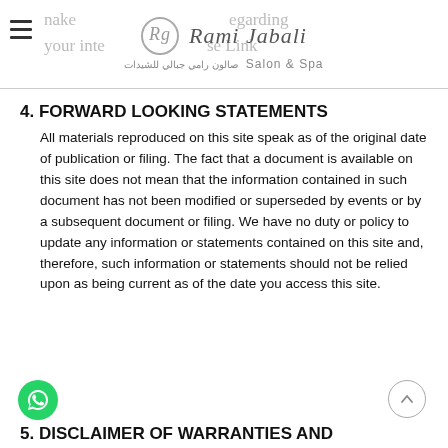Rami Jabali Salon & Spa
4. FORWARD LOOKING STATEMENTS
All materials reproduced on this site speak as of the original date of publication or filing. The fact that a document is available on this site does not mean that the information contained in such document has not been modified or superseded by events or by a subsequent document or filing. We have no duty or policy to update any information or statements contained on this site and, therefore, such information or statements should not be relied upon as being current as of the date you access this site.
5. DISCLAIMER OF WARRANTIES AND